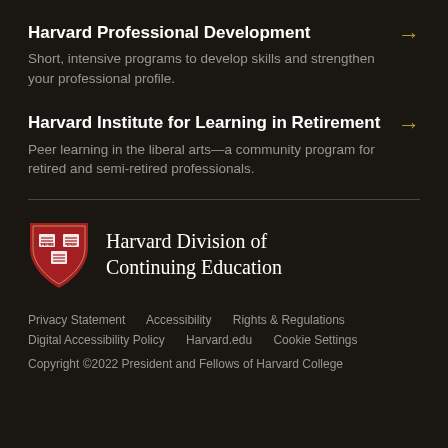Harvard Professional Development
Short, intensive programs to develop skills and strengthen your professional profile.
Harvard Institute for Learning in Retirement
Peer learning in the liberal arts—a community program for retired and semi-retired professionals.
[Figure (logo): Harvard Division of Continuing Education shield logo in red with white book icons]
Harvard Division of Continuing Education
Privacy Statement   Accessibility   Rights & Regulations   Digital Accessibility Policy   Harvard.edu   Cookie Settings
Copyright ©2022 President and Fellows of Harvard College